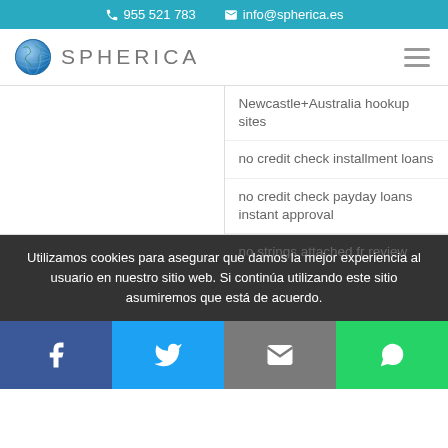955 521 783   info@spherica.es
[Figure (logo): Spherica globe logo and brand name]
Newcastle+Australia hookup sites
no credit check installment loans
no credit check payday loans instant approval
no strings attached fr review
Utilizamos cookies para asegurar que damos la mejor experiencia al usuario en nuestro sitio web. Si continúa utilizando este sitio asumiremos que está de acuerdo.
Facebook | Twitter | Email | WhatsApp